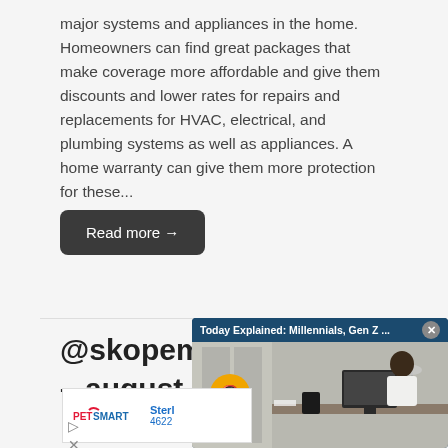major systems and appliances in the home. Homeowners can find great packages that make coverage more affordable and give them discounts and lower rates for repairs and replacements for HVAC, electrical, and plumbing systems as well as appliances. A home warranty can give them more protection for these...
Read more →
@skopem – august 1
[Figure (screenshot): Video popup overlay showing 'Today Explained: Millennials, Gen Z ...' with a close X button, and an office scene with a person working at a computer. A gold mute button is visible. Below is a PetSmart advertisement.]